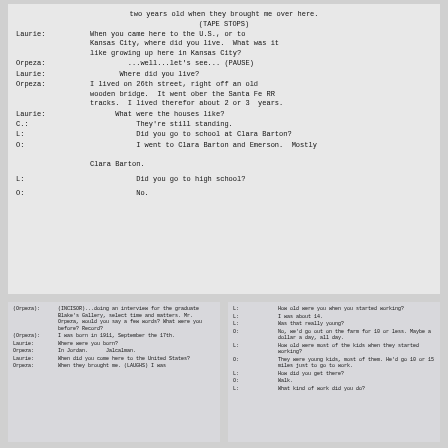two years old when they brought me over here.
(TAPE STOPS)
Laurie: When you came here to the U.S., or to Kansas City, where did you live. What was it like growing up here in Kansas City?
Orpeza: ...well...let's see... (PAUSE)
Laurie: Where did you live?
Orpeza: I lived on 26th street, right off an old wooden bridge. It went ober the Santa Fe RR tracks. I lived therefor about 2 or 3 years.
Laurie: What were the houses like?
C.: They're still standing.
L: Did you go to school at Clara Barton?
O: I went to Clara Barton and Emerson. Mostly Clara Barton.
L: Did you go to high school?
O: No.
(bottom left small text panel - interview transcript continuation)
(bottom right small text panel - interview transcript continuation)